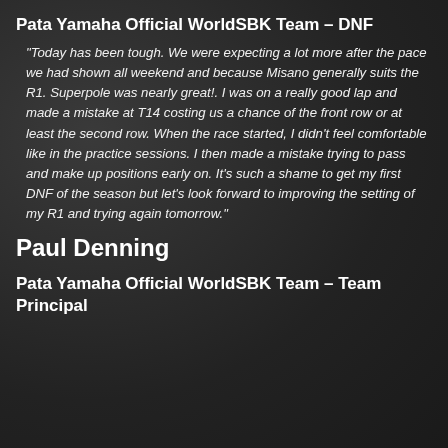Pata Yamaha Official WorldSBK Team – DNF
“Today has been tough. We were expecting a lot more after the pace we had shown all weekend and because Misano generally suits the R1. Superpole was nearly great!. I was on a really good lap and made a mistake at T14 costing us a chance of the front row or at least the second row. When the race started, I didn’t feel comfortable like in the practice sessions. I then made a mistake trying to pass and make up positions early on. It’s such a shame to get my first DNF of the season but let’s look forward to improving the setting of my R1 and trying again tomorrow.”
Paul Denning
Pata Yamaha Official WorldSBK Team – Team Principal